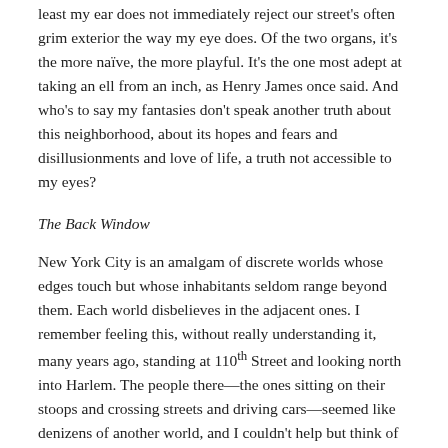least my ear does not immediately reject our street's often grim exterior the way my eye does. Of the two organs, it's the more naïve, the more playful. It's the one most adept at taking an ell from an inch, as Henry James once said. And who's to say my fantasies don't speak another truth about this neighborhood, about its hopes and fears and dissillusionments and love of life, a truth not accessible to my eyes?
The Back Window
New York City is an amalgam of discrete worlds whose edges touch but whose inhabitants seldom range beyond them. Each world disbelieves in the adjacent ones. I remember feeling this, without really understanding it, many years ago, standing at 110th Street and looking north into Harlem. The people there—the ones sitting on their stoops and crossing streets and driving cars—seemed like denizens of another world, and I couldn't help but think of Ray Bradbury's The